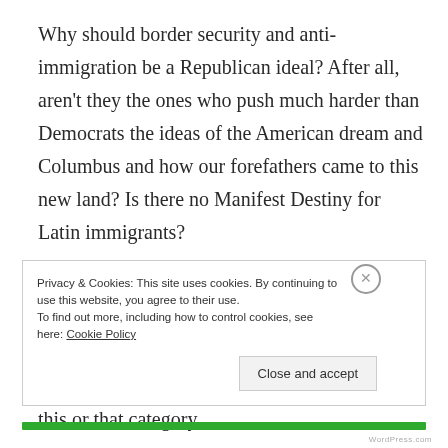Why should border security and anti-immigration be a Republican ideal? After all, aren't they the ones who push much harder than Democrats the ideas of the American dream and Columbus and how our forefathers came to this new land? Is there no Manifest Destiny for Latin immigrants?
Sure each side has its reasons for operating the ways that they do, but they don't always add up. I think that this is the fault of having a two-party system in which everything must fall in this or that category.
Privacy & Cookies: This site uses cookies. By continuing to use this website, you agree to their use.
To find out more, including how to control cookies, see here: Cookie Policy
Close and accept